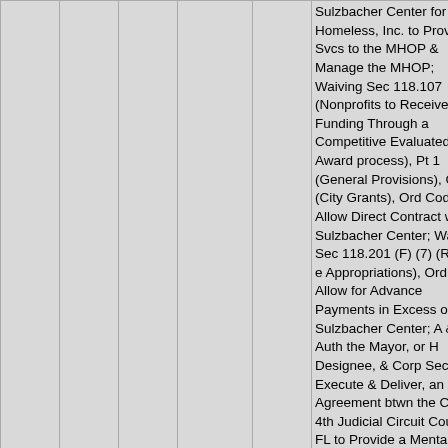|  |  |  |  |  | Sulzbacher Center for the Homeless, Inc. to Provide Svcs to the MHOP & Manage the MHOP; Waiving Sec 118.107 (Nonprofits to Receive Funding Through a Competitive Evaluated Award process), Pt 1 (General Provisions), C 118 (City Grants), Ord Code, to Allow Direct Contract with Sulzbacher Center; Waiving Sec 118.201 (F) (7) (Release Appropriations), Ord C to Allow for Advance Payments in Excess of to Sulzbacher Center; A & Auth the Mayor, or H Designee, & Corp Sec to Execute & Deliver, an Agreement btwn the CO the 4th Judicial Circuit Courts of FL to Provide a Mental Health Jail Initiative Coordinator for $78,7 |